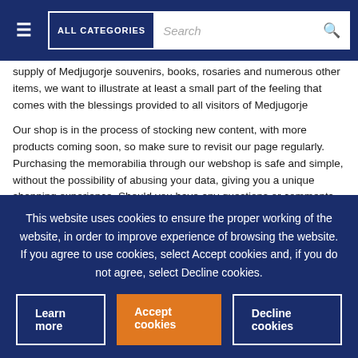ALL CATEGORIES  Search
supply of Medjugorje souvenirs, books, rosaries and numerous other items, we want to illustrate at least a small part of the feeling that comes with the blessings provided to all visitors of Medjugorje

Our shop is in the process of stocking new content, with more products coming soon, so make sure to revisit our page regularly. Purchasing the memorabilia through our webshop is safe and simple, without the possibility of abusing your data, giving you a unique shopping experience. Should you have any questions or comments, feel free to contact our staff! Send us an email on shopmedjugorje@gmail.com, and we will answer promptly. The shop is open 24 hours a day, 365 days a year. View the merchandise we offer and make your purchase any time
This website uses cookies to ensure the proper working of the website, in order to improve experience of browsing the website. If you agree to use cookies, select Accept cookies and, if you do not agree, select Decline cookies.
Learn more  Accept cookies  Decline cookies